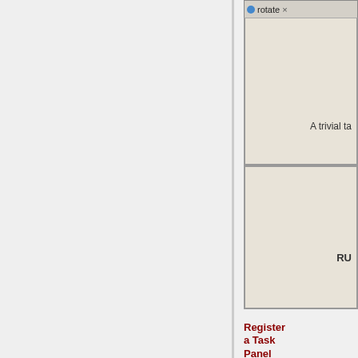[Figure (screenshot): A UI panel screenshot showing a tab labeled 'rotate' with a close button (x), two panes: top pane contains text 'A trivial ta...' and bottom pane contains text 'RU...' on a beige/grey background]
Register a Task Panel
The